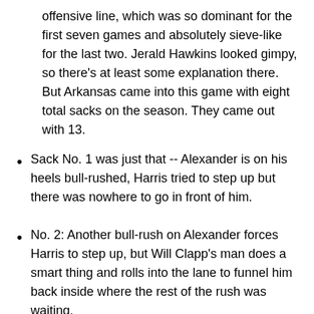offensive line, which was so dominant for the first seven games and absolutely sieve-like for the last two. Jerald Hawkins looked gimpy, so there's at least some explanation there. But Arkansas came into this game with eight total sacks on the season. They came out with 13.
Sack No. 1 was just that -- Alexander is on his heels bull-rushed, Harris tried to step up but there was nowhere to go in front of him.
No. 2: Another bull-rush on Alexander forces Harris to step up, but Will Clapp's man does a smart thing and rolls into the lane to funnel him back inside where the rest of the rush was waiting.